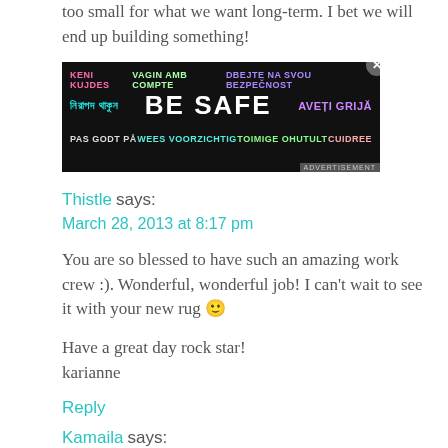too small for what we want long-term. I bet we will end up building something!
[Figure (other): BE SAFE multilingual advertisement banner with colorful text in multiple languages including Bengali, French, Dutch, Estonian, Romanian, Spanish and others. Dark background with neon colored text.]
Thistle says:
March 28, 2013 at 8:17 pm
You are so blessed to have such an amazing work crew :). Wonderful, wonderful job! I can't wait to see it with your new rug 🙂

Have a great day rock star!
karianne
Reply
Kamaila says: